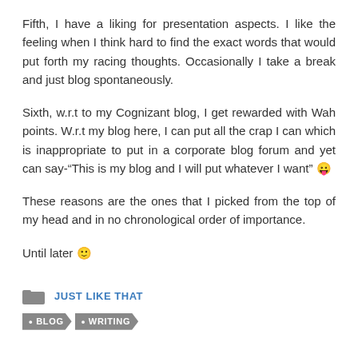Fifth, I have a liking for presentation aspects. I like the feeling when I think hard to find the exact words that would put forth my racing thoughts. Occasionally I take a break and just blog spontaneously.
Sixth, w.r.t to my Cognizant blog, I get rewarded with Wah points. W.r.t my blog here, I can put all the crap I can which is inappropriate to put in a corporate blog forum and yet can say-"This is my blog and I will put whatever I want" 😛
These reasons are the ones that I picked from the top of my head and in no chronological order of importance.
Until later 🙂
JUST LIKE THAT
• BLOG  • WRITING